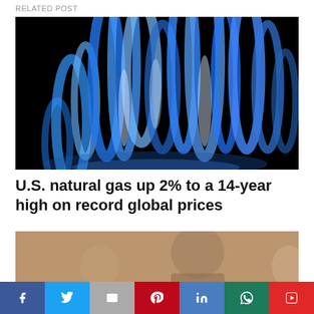RELATED POST
[Figure (photo): Blue flames on black background]
U.S. natural gas up 2% to a 14-year high on record global prices
[Figure (photo): Photo of a man at a hearing, partially visible]
Página traducible | हिंदी | Página traduzível | العربية اردو
Social sharing bar: Facebook, Twitter, Email, Pinterest, LinkedIn, WhatsApp, Flipboard